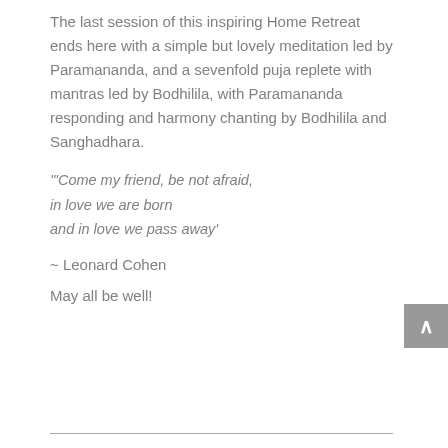The last session of this inspiring Home Retreat ends here with a simple but lovely meditation led by Paramananda, and a sevenfold puja replete with mantras led by Bodhilila, with Paramananda responding and harmony chanting by Bodhilila and Sanghadhara.
'Come my friend, be not afraid, in love we are born and in love we pass away'
~ Leonard Cohen
May all be well!